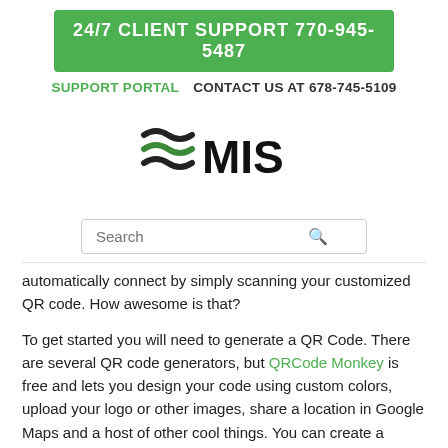24/7 CLIENT SUPPORT 770-945-5487
SUPPORT PORTAL   CONTACT US AT 678-745-5109
[Figure (logo): MIS logo with wave/water lines in black and green]
Search
automatically connect by simply scanning your customized QR code. How awesome is that?
To get started you will need to generate a QR Code. There are several QR code generators, but QRCode Monkey is free and lets you design your code using custom colors, upload your logo or other images, share a location in Google Maps and a host of other cool things. You can create a